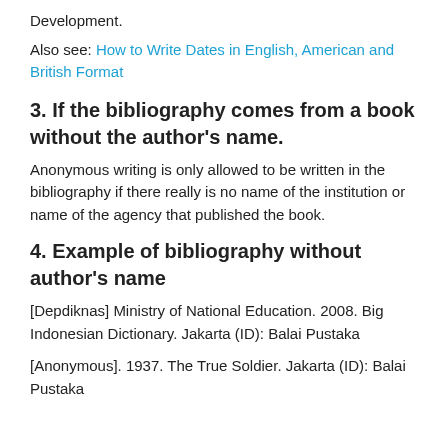Development.
Also see: How to Write Dates in English, American and British Format
3. If the bibliography comes from a book without the author's name.
Anonymous writing is only allowed to be written in the bibliography if there really is no name of the institution or name of the agency that published the book.
4. Example of bibliography without author's name
[Depdiknas] Ministry of National Education. 2008. Big Indonesian Dictionary. Jakarta (ID): Balai Pustaka
[Anonymous]. 1937. The True Soldier. Jakarta (ID): Balai Pustaka